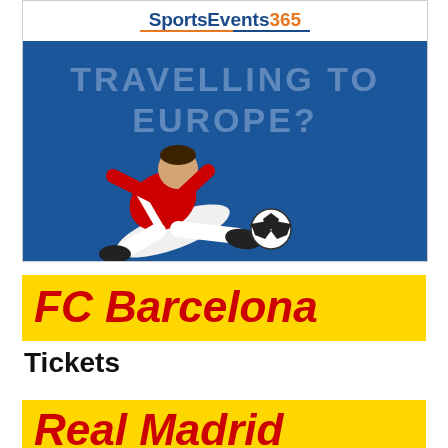[Figure (advertisement): SportsEvents365 advertisement banner with blue background, white logo bar at top showing 'SportsEvents 365' logo, large faded text 'TRAVELLING TO EUROPE?' and a soccer player in red kit kicking a ball]
[Figure (advertisement): FC Barcelona Tickets advertisement with yellow banner background, large bold italic red text 'FC Barcelona' and bold black text 'Tickets' below]
[Figure (advertisement): Real Madrid advertisement with yellow banner background, large bold italic red text 'Real Madrid' partially visible]